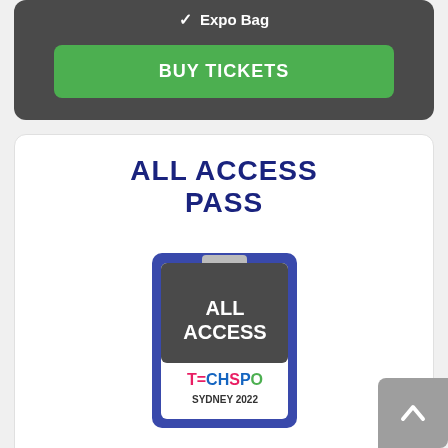✓ Expo Bag
BUY TICKETS
ALL ACCESS PASS
[Figure (illustration): Badge/lanyard pass for TECHSPO SYDNEY 2022 All Access pass, dark background with white ALL ACCESS text and colorful TECHSPO SYDNEY 2022 branding]
$ 397
$ 397